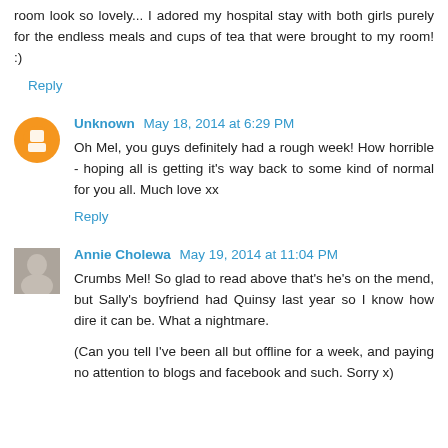room look so lovely... I adored my hospital stay with both girls purely for the endless meals and cups of tea that were brought to my room! :)
Reply
Unknown May 18, 2014 at 6:29 PM
Oh Mel, you guys definitely had a rough week! How horrible - hoping all is getting it's way back to some kind of normal for you all. Much love xx
Reply
Annie Cholewa May 19, 2014 at 11:04 PM
Crumbs Mel! So glad to read above that's he's on the mend, but Sally's boyfriend had Quinsy last year so I know how dire it can be. What a nightmare.
(Can you tell I've been all but offline for a week, and paying no attention to blogs and facebook and such. Sorry x)